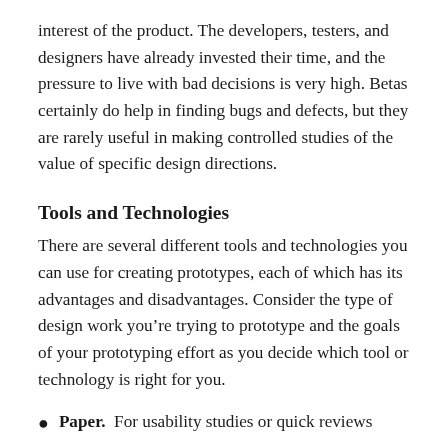interest of the product. The developers, testers, and designers have already invested their time, and the pressure to live with bad decisions is very high. Betas certainly do help in finding bugs and defects, but they are rarely useful in making controlled studies of the value of specific design directions.
Tools and Technologies
There are several different tools and technologies you can use for creating prototypes, each of which has its advantages and disadvantages. Consider the type of design work you’re trying to prototype and the goals of your prototyping effort as you decide which tool or technology is right for you.
Paper. For usability studies or quick reviews...